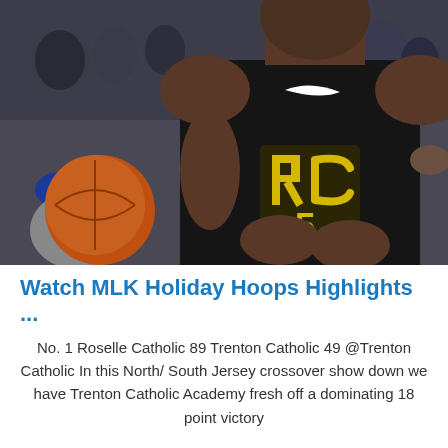[Figure (photo): A basketball player wearing a black Nike jersey with 'RC' in yellow letters and number 5, standing in front of a crowd. A basketball is visible to the left side, partially blurred. The setting appears to be an indoor gymnasium.]
Watch MLK Holiday Hoops Highlights ...
No. 1 Roselle Catholic 89 Trenton Catholic 49 @Trenton Catholic In this North/ South Jersey crossover show down we have Trenton Catholic Academy fresh off a dominating 18 point victory